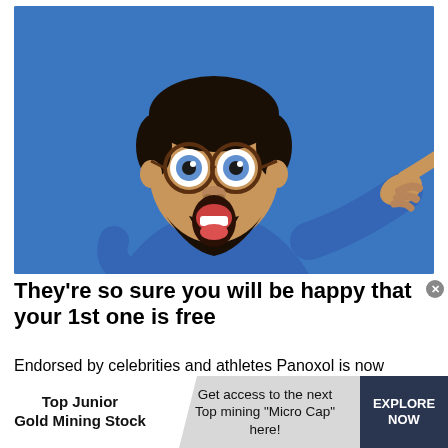[Figure (photo): A surprised man with glasses and a beard wearing a blue sweater, pointing to the right, against a blue background.]
They're so sure you will be happy that your 1st one is free
Endorsed by celebrities and athletes Panoxol is now on Amazon. Please accept a free one-month supply so you c
[Figure (infographic): Advertisement banner: Top Junior Gold Mining Stock — Get access to the next Top mining "Micro Cap" here! — EXPLORE NOW]